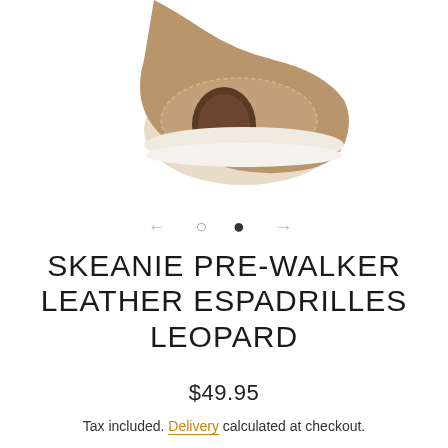[Figure (photo): Bottom view of a brown leather espadrille shoe with a tan/beige suede sole and a dark brown oval logo patch, partially cropped at top]
← ○ ● →
SKEANIE PRE-WALKER LEATHER ESPADRILLES LEOPARD
$49.95
Tax included. Delivery calculated at checkout.